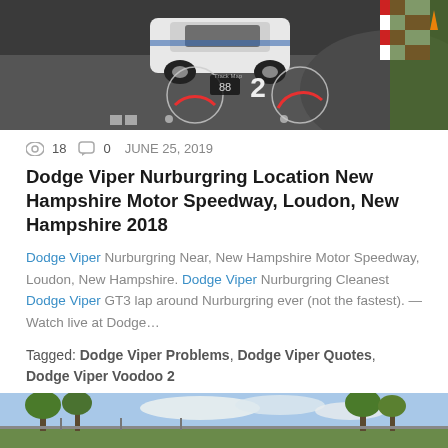[Figure (screenshot): Racing game screenshot showing a white sports car on a track with HUD elements (speedometer, lap counter showing '2'), red-white curbing visible on right, orange cone in background]
👁 18   💬 0   JUNE 25, 2019
Dodge Viper Nurburgring Location New Hampshire Motor Speedway, Loudon, New Hampshire 2018
Dodge Viper Nurburgring Near, New Hampshire Motor Speedway, Loudon, New Hampshire. Dodge Viper Nurburgring Cleanest Dodge Viper GT3 lap around Nurburgring ever (not the fastest). — Watch live at Dodge…
Tagged: Dodge Viper Problems, Dodge Viper Quotes, Dodge Viper Voodoo 2
[Figure (photo): Outdoor photo showing trees and sky, partial view at bottom of page]